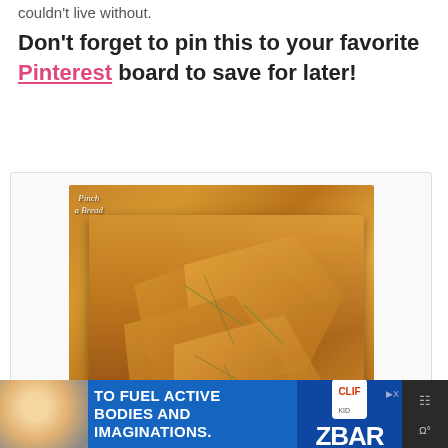couldn't live without.
Don't forget to pin this to your favorite Pinterest board to save for later!
[Figure (photo): Photo of golden crispy flatbread pieces with herbs on a white dish, inside a recipe card with a print button and 5-star rating showing '5 from 1 vote']
Print Recipe
★★★★★ 5 from 1 vote
[Figure (infographic): Advertisement banner: 'TO FUEL ACTIVE BODIES AND IMAGINATIONS.' with ZBAR product logo on blue background, child eating snack on left side]